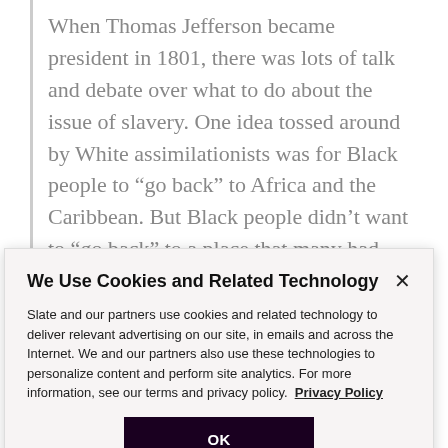When Thomas Jefferson became president in 1801, there was lots of talk and debate over what to do about the issue of slavery. One idea tossed around by White assimilationists was for Black people to “go back” to Africa and the Caribbean. But Black people didn’t want to “go back” to a place that many had never known. ...
Do you see how racist ideas of today are tied to racist
We Use Cookies and Related Technology
Slate and our partners use cookies and related technology to deliver relevant advertising on our site, in emails and across the Internet. We and our partners also use these technologies to personalize content and perform site analytics. For more information, see our terms and privacy policy. Privacy Policy